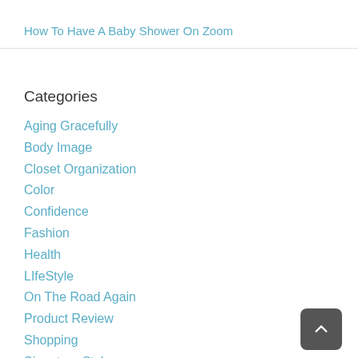How To Have A Baby Shower On Zoom
Categories
Aging Gracefully
Body Image
Closet Organization
Color
Confidence
Fashion
Health
LIfeStyle
On The Road Again
Product Review
Shopping
Signature Style
Skincare & Makeup